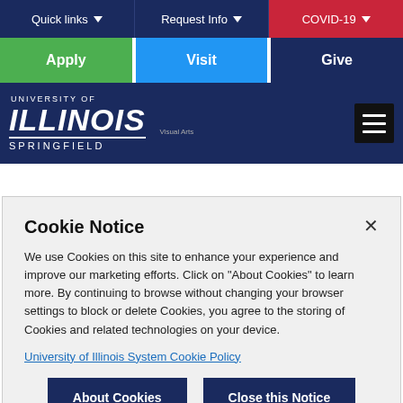Quick links | Request Info | COVID-19
Apply | Visit | Give
[Figure (logo): University of Illinois Springfield logo with Visual Arts text]
Huong Ngô – Her Name Escapes Me
Cookie Notice
We use Cookies on this site to enhance your experience and improve our marketing efforts. Click on "About Cookies" to learn more. By continuing to browse without changing your browser settings to block or delete Cookies, you agree to the storing of Cookies and related technologies on your device.
University of Illinois System Cookie Policy
About Cookies | Close this Notice